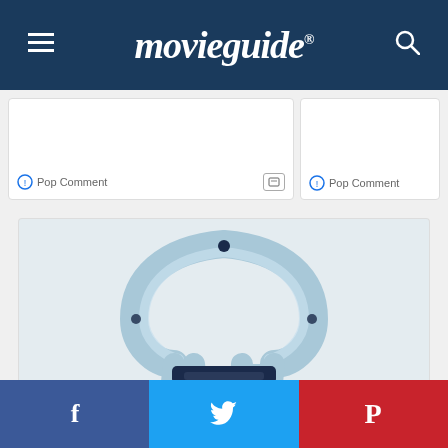movieguide®
Pop Comment
Pop Comment
[Figure (photo): Light blue horseshoe-shaped medical device (FDA-registered ED treatment ring) on white/light gray background]
An FDA-Registered ED Treatment That's Up For The Challenge
Sponsored Ad
Find Out More
Facebook | Twitter | Pinterest social share bar